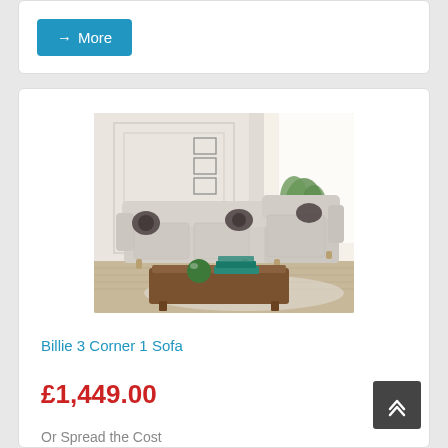→ More
[Figure (photo): Billie 3 Corner 1 Sofa in a light beige/cream fabric, displayed in a styled living room with a wooden coffee table, plant, and curtained window.]
Billie 3 Corner 1 Sofa
£1,449.00
Or Spread the Cost